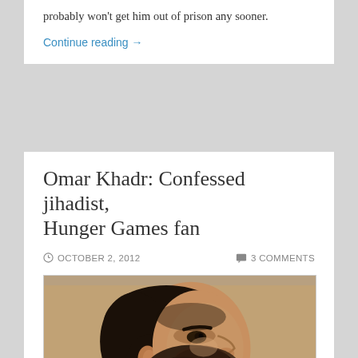…to tell her it will continue to haunt her. But that probably won't get him out of prison any sooner.
Continue reading →
Omar Khadr: Confessed jihadist, Hunger Games fan
OCTOBER 2, 2012   3 COMMENTS
[Figure (illustration): A painted/drawn portrait of Omar Khadr shown in profile view facing right, with dark beard and short dark hair, against a tan/beige background. The style appears to be a courtroom sketch or artistic rendering.]